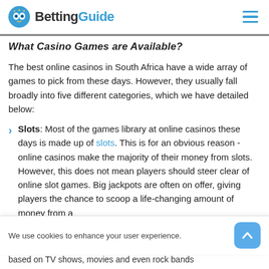BettingGuide
What Casino Games are Available?
The best online casinos in South Africa have a wide array of games to pick from these days. However, they usually fall broadly into five different categories, which we have detailed below:
Slots: Most of the games library at online casinos these days is made up of slots. This is for an obvious reason - online casinos make the majority of their money from slots. However, this does not mean players should steer clear of online slot games. Big jackpots are often on offer, giving players the chance to scoop a life-changing amount of money from a based on TV shows, movies and even rock bands
We use cookies to enhance your user experience.